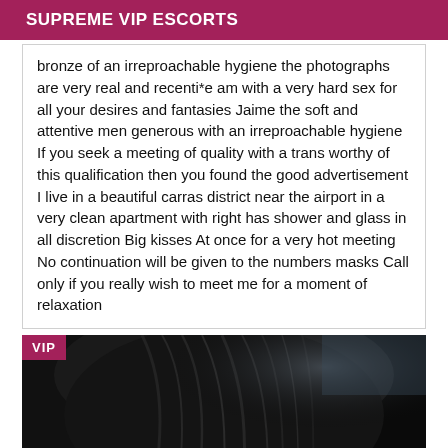SUPREME VIP ESCORTS
bronze of an irreproachable hygiene the photographs are very real and recenti*e am with a very hard sex for all your desires and fantasies Jaime the soft and attentive men generous with an irreproachable hygiene If you seek a meeting of quality with a trans worthy of this qualification then you found the good advertisement I live in a beautiful carras district near the airport in a very clean apartment with right has shower and glass in all discretion Big kisses At once for a very hot meeting No continuation will be given to the numbers masks Call only if you really wish to meet me for a moment of relaxation
[Figure (photo): Close-up photo of dark hair against a dark background, partially lit, with 'VIP' badge overlay in magenta in the top-left corner.]